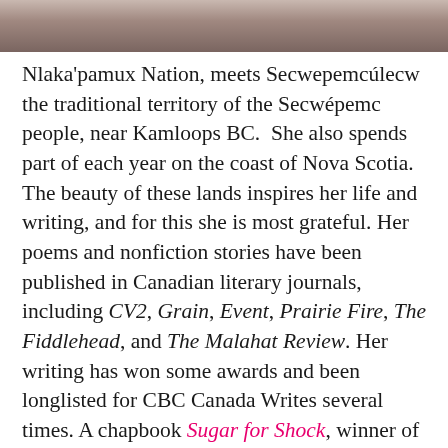[Figure (photo): Partial photo of a person, cropped at top of page showing shoulders/neck area]
Nlaka'pamux Nation, meets Secwepemcúlecw the traditional territory of the Secwépemc people, near Kamloops BC. She also spends part of each year on the coast of Nova Scotia. The beauty of these lands inspires her life and writing, and for this she is most grateful. Her poems and nonfiction stories have been published in Canadian literary journals, including CV2, Grain, Event, Prairie Fire, The Fiddlehead, and The Malahat Review. Her writing has won some awards and been longlisted for CBC Canada Writes several times. A chapbook Sugar for Shock, winner of the John Lent Prize, is available from Kalamalka Press, and the collection Gatecrasher from Invisible Publishing.